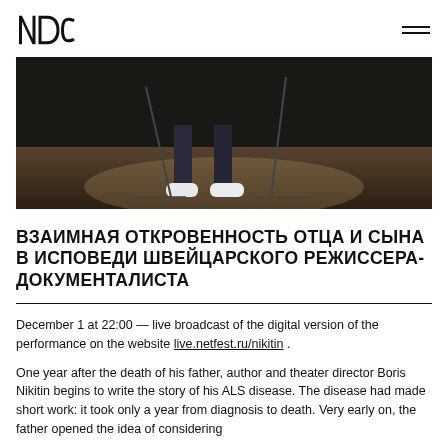NDT logo and navigation
[Figure (photo): Stage photo showing the lower legs and white sneakers of a performer on a dark stage floor under spotlight, with microphone stands visible]
ВЗАИМНАЯ ОТКРОВЕННОСТЬ ОТЦА И СЫНА В ИСПОВЕДИ ШВЕЙЦАРСКОГО РЕЖИССЕРА-ДОКУМЕНТАЛИСТА
December 1 at 22:00 — live broadcast of the digital version of the performance on the website live.netfest.ru/nikitin .
One year after the death of his father, author and theater director Boris Nikitin begins to write the story of his ALS disease. The disease had made short work: it took only a year from diagnosis to death. Very early on, the father opened the idea of considering assisted suicide, which in the absence of his son in Switzerland with